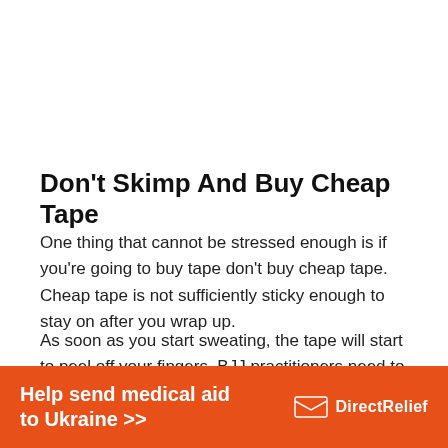Don't Skimp And Buy Cheap Tape
One thing that cannot be stressed enough is if you're going to buy tape don't buy cheap tape. Cheap tape is not sufficiently sticky enough to stay on after you wrap up.
As soon as you start sweating, the tape will start to peel off your fingers. BJJ practitioners need to tape their fingers with heavy duty tape that will stay on during rolling.
[Figure (other): Help send medical aid to Ukraine >> — Direct Relief advertisement banner in orange]